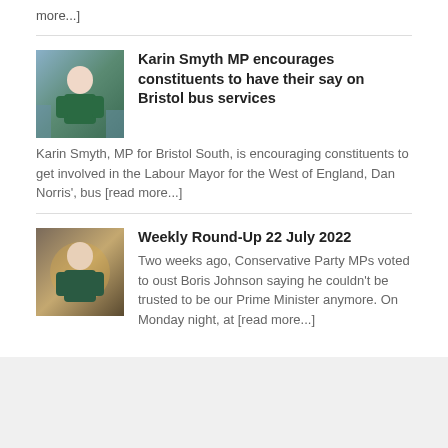more...]
[Figure (photo): Portrait photo of Karin Smyth MP, a woman in a green jacket, standing outside with a river and buildings in background]
Karin Smyth MP encourages constituents to have their say on Bristol bus services
Karin Smyth, MP for Bristol South, is encouraging constituents to get involved in the Labour Mayor for the West of England, Dan Norris', bus [read more...]
[Figure (photo): Portrait photo of a woman in a dark green jacket, against a warm golden background]
Weekly Round-Up 22 July 2022
Two weeks ago, Conservative Party MPs voted to oust Boris Johnson saying he couldn't be trusted to be our Prime Minister anymore. On Monday night, at [read more...]